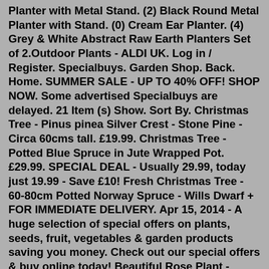(*) Planter with Metal Stand. (2) Black Round Metal Planter with Stand. (0) Cream Ear Planter. (4) Grey & White Abstract Raw Earth Planters Set of 2.Outdoor Plants - ALDI UK. Log in / Register. Specialbuys. Garden Shop. Back. Home. SUMMER SALE - UP TO 40% OFF! SHOP NOW. Some advertised Specialbuys are delayed. 21 Item (s) Show. Sort By. Christmas Tree - Pinus pinea Silver Crest - Stone Pine - Circa 60cms tall. £19.99. Christmas Tree - Potted Blue Spruce in Jute Wrapped Pot. £29.99. SPECIAL DEAL - Usually 29.99, today just 19.99 - Save £10! Fresh Christmas Tree - 60-80cm Potted Norway Spruce - Wills Dwarf + FOR IMMEDIATE DELIVERY. Apr 15, 2014 - A huge selection of special offers on plants, seeds, fruit, vegetables & garden products saving you money. Check out our special offers & buy online today! Beautiful Rose Plant - Indoor Plants - Plant Delivery - Plant Gifts - Plant Gift Delivery - Send Plants - Free Chocs. Sale! £49.99 £29.99 Goto Florist.Outdoor Plants - ALDI UK. Log